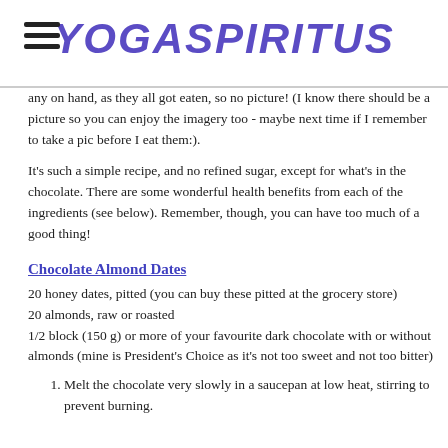YOGASPIRITUS
any on hand, as they all got eaten, so no picture!  (I know there should be a picture so you can enjoy the imagery too - maybe next time if I remember to take a pic before I eat them:).
It's such a simple recipe, and no refined sugar, except for what's in the chocolate.  There are some wonderful health benefits from each of the ingredients (see below). Remember, though, you can have too much of a good thing!
Chocolate Almond Dates
20 honey dates, pitted (you can buy these pitted at the grocery store)
20 almonds, raw or roasted
1/2 block (150 g) or more of your favourite dark chocolate with or without almonds (mine is President's Choice as it's not too sweet and not too bitter)
Melt the chocolate very slowly in a saucepan at low heat, stirring to prevent burning.